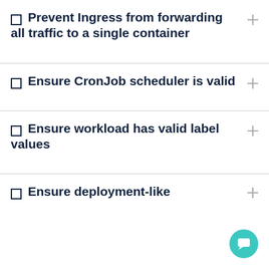Prevent Ingress from forwarding all traffic to a single container
Ensure CronJob scheduler is valid
Ensure workload has valid label values
Ensure deployment-like